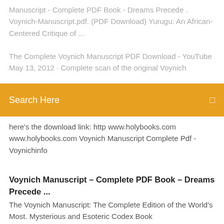Manuscript - Complete PDF Book - Dreams Precede . Voynich-Manuscript.pdf. (PDF Download) Yurugu: An African-Centered Critique of ...
The Complete Voynich Manuscript PDF Download - YouTube May 13, 2012 · Complete scan of the original Voynich
Search Here
here's the download link: http www.holybooks.com www.holybooks.com Voynich Manuscript Complete Pdf - Voynichinfo
Voynich Manuscript – Complete PDF Book – Dreams Precede ...
The Voynich Manuscript: The Complete Edition of the World's Most. Mysterious and Esoteric Codex Book (PDF,TXT,KINDLE) + AUDIO. VERSION  17 Dec 2003 Elizabethan encryption tool hints Voynich manuscript is elegant gibberish. Download PDF. Using